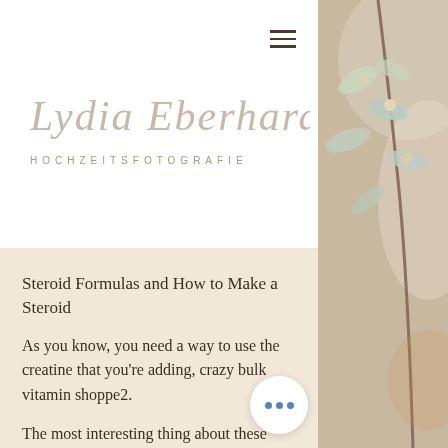[Figure (logo): Lydia Eberhard Hochzeitsfotografie script logo in light grey/beige tones on white background]
Steroid Formulas and How to Make a Steroid
As you know, you need a way to use the creatine that you're adding, crazy bulk vitamin shoppe2.
The most interesting thing about these anabolic steroids for sale Australia is that they are legal, so you do not have to obtain a prescription for you to buy steroids in Australia online. This may seem like a very strange rule, but when you realize what you are actually buying, this is one rule that will never want to break.
[Figure (photo): Decorative nature photo on right side showing blurred white/blue flowering branches and warm tones]